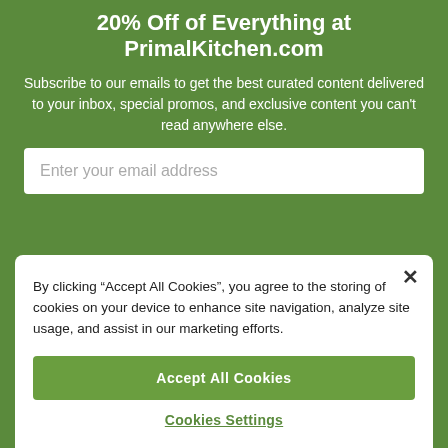20% Off of Everything at PrimalKitchen.com
Subscribe to our emails to get the best curated content delivered to your inbox, special promos, and exclusive content you can't read anywhere else.
Enter your email address
By clicking “Accept All Cookies”, you agree to the storing of cookies on your device to enhance site navigation, analyze site usage, and assist in our marketing efforts.
Accept All Cookies
Cookies Settings